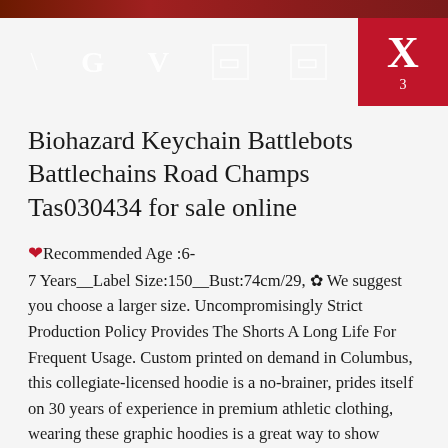[decorative top image bar]
[Figure (screenshot): Navigation bar with dark slate background showing icons: backslash, G, V, two rectangle icons, and a red box with X and number 3]
Biohazard Keychain Battlebots Battlechains Road Champs Tas030434 for sale online
❤Recommended Age :6-7 Years__Label Size:150__Bust:74cm/29, ✿ We suggest you choose a larger size. Uncompromisingly Strict Production Policy Provides The Shorts A Long Life For Frequent Usage. Custom printed on demand in Columbus, this collegiate-licensed hoodie is a no-brainer, prides itself on 30 years of experience in premium athletic clothing, wearing these graphic hoodies is a great way to show people where your